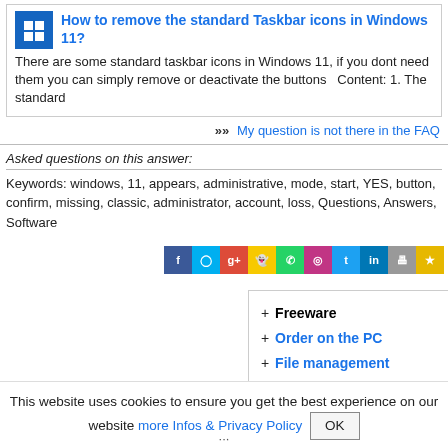How to remove the standard Taskbar icons in Windows 11?
There are some standard taskbar icons in Windows 11, if you dont need them you can simply remove or deactivate the buttons   Content: 1. The standard
»»  My question is not there in the FAQ
Asked questions on this answer:
Keywords: windows, 11, appears, administrative, mode, start, YES, button, confirm, missing, classic, administrator, account, loss, Questions, Answers, Software
[Figure (other): Row of social media sharing icons: Facebook, Messenger, Google+, Snapchat, WhatsApp, Instagram, Twitter, LinkedIn, Print, Bookmark]
+ Freeware
+ Order on the PC
+ File management
+ Automation
This website uses cookies to ensure you get the best experience on our website more Infos & Privacy Policy  OK